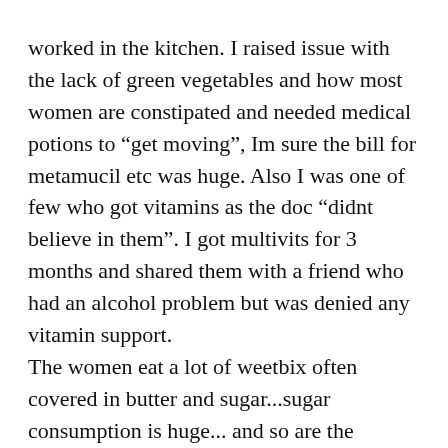worked in the kitchen. I raised issue with the lack of green vegetables and how most women are constipated and needed medical potions to “get moving”, Im sure the bill for metamucil etc was huge. Also I was one of few who got vitamins as the doc “didnt believe in them”. I got multivits for 3 months and shared them with a friend who had an alcohol problem but was denied any vitamin support. The women eat a lot of weetbix often covered in butter and sugar...sugar consumption is huge... and so are the women often eating way too much bread! many women put on 15 -20kilos and the joke is they can go on the Jenny Crack diet when released!! A few meagre gardens are scratched